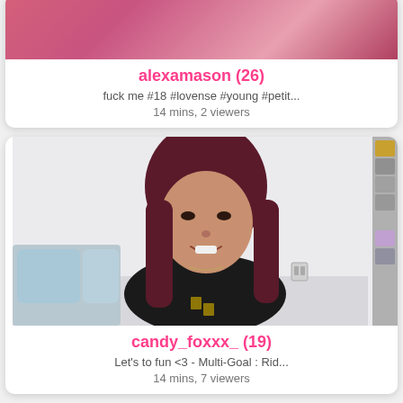[Figure (photo): Partial streaming card showing a pink/bedroom background image, cropped at top]
alexamason (26)
fuck me #18 #lovense #young #petit...
14 mins, 2 viewers
[Figure (photo): Streaming card showing a young woman with dark red/burgundy hair, wearing a black hoodie, sitting in a white room with pillows behind her. A side panel with a goal/tip menu is partially visible on the right edge.]
candy_foxxx_ (19)
Let's to fun <3 - Multi-Goal : Rid...
14 mins, 7 viewers